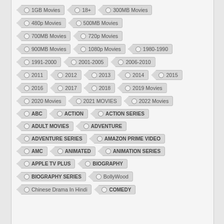1GB Movies
18+
300MB Movies
480p Movies
500MB Movies
700MB Movies
720p Movies
900MB Movies
1080p Movies
1980-1990
1991-2000
2001-2005
2006-2010
2011
2012
2013
2014
2015
2016
2017
2018
2019 Movies
2020 Movies
2021 MOVIES
2022 Movies
ABC
ACTION
ACTION SERIES
ADULT MOVIES
ADVENTURE
ADVENTURE SERIES
AMAZON PRIME VIDEO
AMC
ANIMATED
ANIMATION SERIES
APPLE TV PLUS
BIOGRAPHY
BIOGRAPHY SERIES
BollyWood
Chinese Drama In Hindi
COMEDY